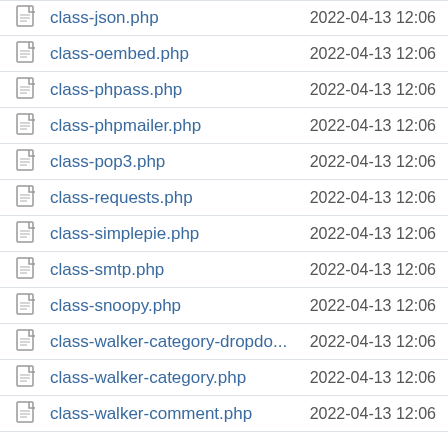|  | Name | Date |
| --- | --- | --- |
| [file] | class-json.php | 2022-04-13 12:06 |
| [file] | class-oembed.php | 2022-04-13 12:06 |
| [file] | class-phpass.php | 2022-04-13 12:06 |
| [file] | class-phpmailer.php | 2022-04-13 12:06 |
| [file] | class-pop3.php | 2022-04-13 12:06 |
| [file] | class-requests.php | 2022-04-13 12:06 |
| [file] | class-simplepie.php | 2022-04-13 12:06 |
| [file] | class-smtp.php | 2022-04-13 12:06 |
| [file] | class-snoopy.php | 2022-04-13 12:06 |
| [file] | class-walker-category-dropdo... | 2022-04-13 12:06 |
| [file] | class-walker-category.php | 2022-04-13 12:06 |
| [file] | class-walker-comment.php | 2022-04-13 12:06 |